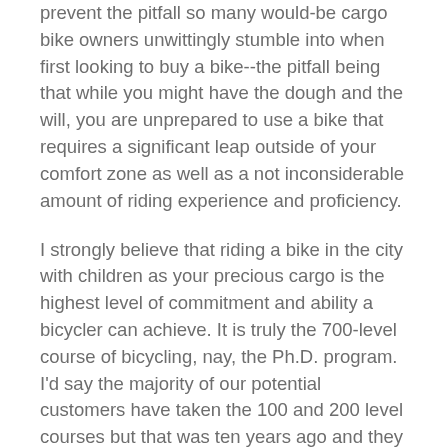prevent the pitfall so many would-be cargo bike owners unwittingly stumble into when first looking to buy a bike--the pitfall being that while you might have the dough and the will, you are unprepared to use a bike that requires a significant leap outside of your comfort zone as well as a not inconsiderable amount of riding experience and proficiency.
I strongly believe that riding a bike in the city with children as your precious cargo is the highest level of commitment and ability a bicycler can achieve. It is truly the 700-level course of bicycling, nay, the Ph.D. program.  I'd say the majority of our potential customers have taken the 100 and 200 level courses but that was ten years ago and they probably missed a bunch of class and just downloaded the professor's Powerpoint notes (and then missed the class reunion in fashion).
My hope is that I can supply the Sparknotes for the intervening classes. (My hope is that I can also sell you